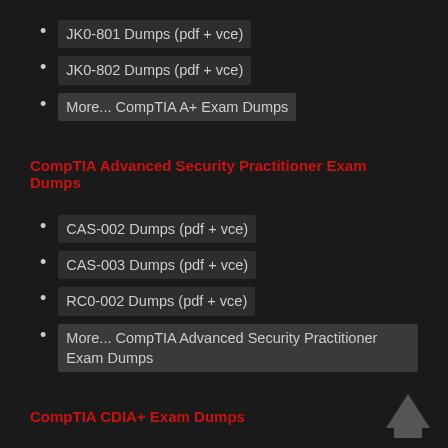JK0-801 Dumps (pdf + vce)
JK0-802 Dumps (pdf + vce)
More... CompTIA A+ Exam Dumps
CompTIA Advanced Security Practitioner Exam Dumps
CAS-002 Dumps (pdf + vce)
CAS-003 Dumps (pdf + vce)
RC0-002 Dumps (pdf + vce)
More... CompTIA Advanced Security Practitioner Exam Dumps
CompTIA CDIA+ Exam Dumps
CD0-001 Dumps (pdf + vce)